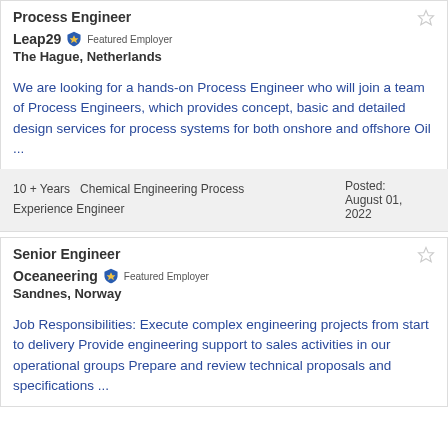Process Engineer
Leap29  Featured Employer
The Hague, Netherlands
We are looking for a hands-on Process Engineer who will join a team of Process Engineers, which provides concept, basic and detailed design services for process systems for both onshore and offshore Oil ...
10 + Years  Chemical Engineering Process Experience Engineer
Posted: August 01, 2022
Senior Engineer
Oceaneering  Featured Employer
Sandnes, Norway
Job Responsibilities: Execute complex engineering projects from start to delivery Provide engineering support to sales activities in our operational groups Prepare and review technical proposals and specifications ...